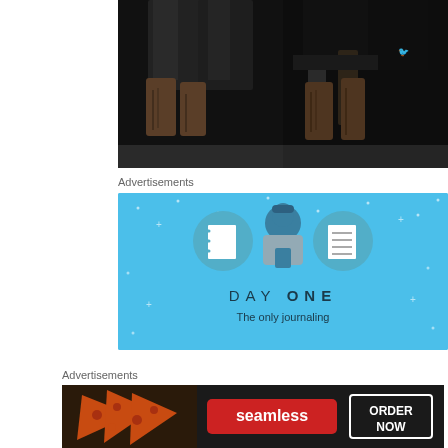[Figure (photo): Two side-by-side nighttime photos showing lower body/legs of people wearing dark clothing and brown leather boots]
Advertisements
[Figure (screenshot): Day One journaling app advertisement with blue background, illustration of person with notebook and list icons, text 'DAY ONE' and 'The only journaling']
Advertisements
[Figure (screenshot): Seamless food delivery advertisement showing pizza slices on left, Seamless logo in red center, and 'ORDER NOW' button on right with dark background]